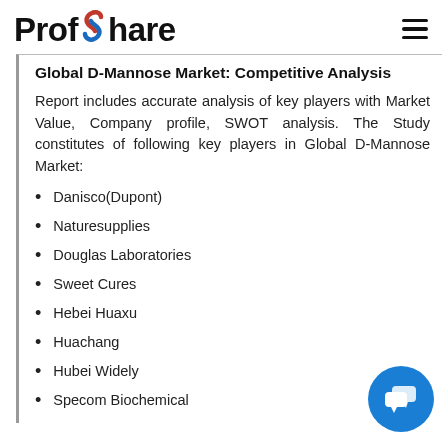ProfShare
Global D-Mannose Market: Competitive Analysis
Report includes accurate analysis of key players with Market Value, Company profile, SWOT analysis. The Study constitutes of following key players in Global D-Mannose Market:
Danisco(Dupont)
Naturesupplies
Douglas Laboratories
Sweet Cures
Hebei Huaxu
Huachang
Hubei Widely
Specom Biochemical